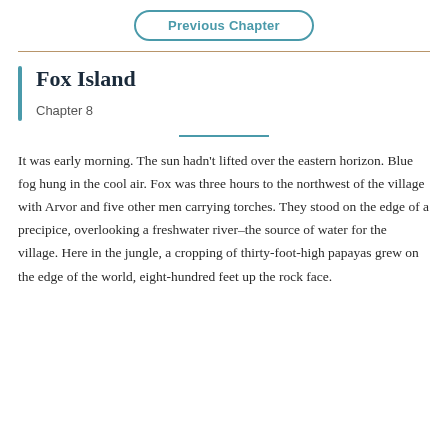Previous Chapter
Fox Island
Chapter 8
It was early morning. The sun hadn't lifted over the eastern horizon. Blue fog hung in the cool air. Fox was three hours to the northwest of the village with Arvor and five other men carrying torches. They stood on the edge of a precipice, overlooking a freshwater river–the source of water for the village. Here in the jungle, a cropping of thirty-foot-high papayas grew on the edge of the world, eight-hundred feet up the rock face.